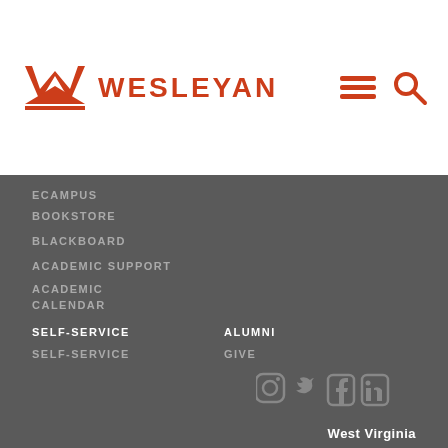[Figure (logo): West Virginia Wesleyan College logo with W emblem and WESLEYAN text in orange]
[Figure (infographic): Hamburger menu icon and search magnifier icon in orange]
ECAMPUS
BOOKSTORE
BLACKBOARD
ACADEMIC SUPPORT
ACADEMIC CALENDAR
SELF-SERVICE
SELF-SERVICE
ALUMNI
GIVE
[Figure (infographic): Social media icons: Instagram, Twitter, Facebook, LinkedIn in gray]
West Virginia